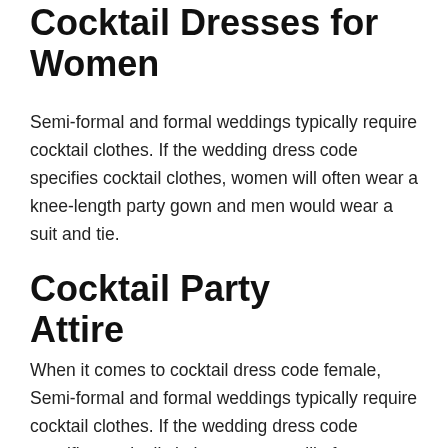Cocktail Dresses for Women
Semi-formal and formal weddings typically require cocktail clothes. If the wedding dress code specifies cocktail clothes, women will often wear a knee-length party gown and men would wear a suit and tie.
Cocktail Party Attire
When it comes to cocktail dress code female, Semi-formal and formal weddings typically require cocktail clothes. If the wedding dress code specifies cocktail clothes, women will often wear a knee-length party gown and men would wear a suit and tie.